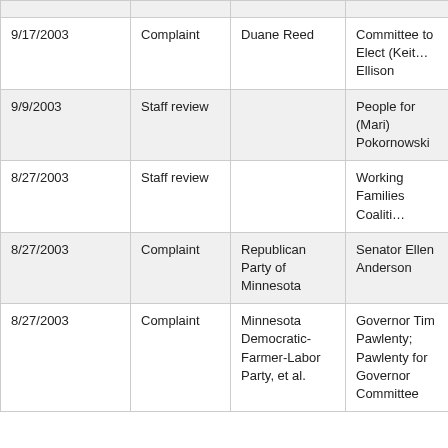| Date | Type | Complainant | Respondent |
| --- | --- | --- | --- |
| 9/17/2003 | Complaint | Duane Reed | Committee to Elect (Keith) Ellison |
| 9/9/2003 | Staff review |  | People for (Mari) Pokornowski |
| 8/27/2003 | Staff review |  | Working Families Coalition |
| 8/27/2003 | Complaint | Republican Party of Minnesota | Senator Ellen Anderson |
| 8/27/2003 | Complaint | Minnesota Democratic-Farmer-Labor Party, et al. | Governor Tim Pawlenty; Pawlenty for Governor Committee |